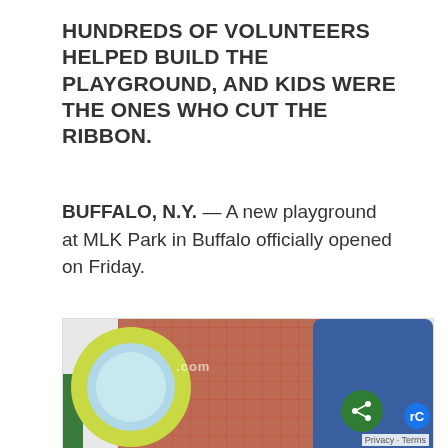HUNDREDS OF VOLUNTEERS HELPED BUILD THE PLAYGROUND, AND KIDS WERE THE ONES WHO CUT THE RIBBON.
BUFFALO, N.Y. — A new playground at MLK Park in Buffalo officially opened on Friday.
[Figure (photo): Close-up photo of playground equipment showing a yellow-rimmed circular mirror/spinner element with a light blue face, a green post on the left, a brick-pattern background, and a blue curved slide or barrel shape on the right. A watermark '.com' is visible. A green share icon button and a reCAPTCHA icon are overlaid on the lower right.]